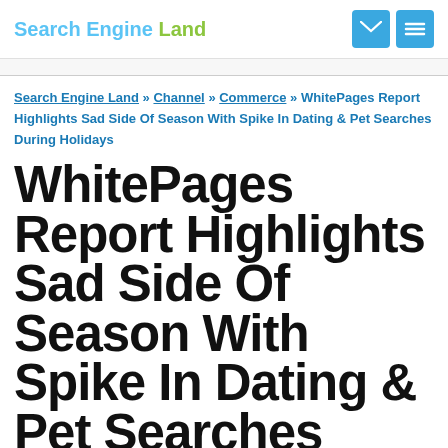Search Engine Land
Search Engine Land » Channel » Commerce » WhitePages Report Highlights Sad Side Of Season With Spike In Dating & Pet Searches During Holidays
WhitePages Report Highlights Sad Side Of Season With Spike In Dating & Pet Searches During Holidays